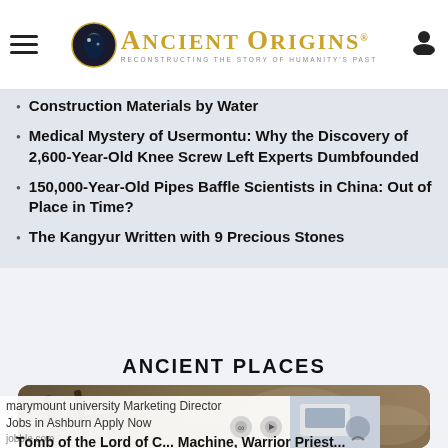Ancient Origins — Reconstructing the Story of Humanity's Past
Construction Materials by Water
Medical Mystery of Usermontu: Why the Discovery of 2,600-Year-Old Knee Screw Left Experts Dumbfounded
150,000-Year-Old Pipes Baffle Scientists in China: Out of Place in Time?
The Kangyur Written with 9 Precious Stones
ANCIENT PLACES
[Figure (photo): Archaeological excavation site showing ancient tools or structural remains in earth/rock]
marymount university Marketing Director Jobs in Ashburn Apply Now — jobble.com